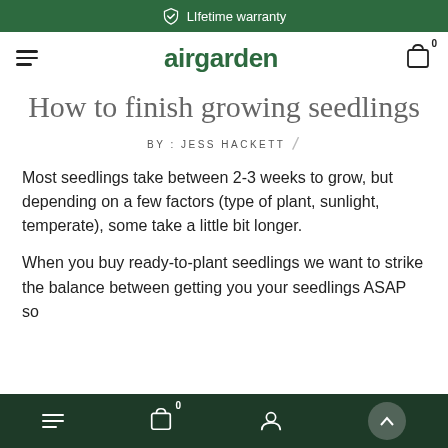LIfetime warranty
[Figure (logo): airgarden brand name with hamburger menu icon on left and cart icon on right]
How to finish growing seedlings
BY : JESS HACKETT
Most seedlings take between 2-3 weeks to grow, but depending on a few factors (type of plant, sunlight, temperate), some take a little bit longer.
When you buy ready-to-plant seedlings we want to strike the balance between getting you your seedlings ASAP so
Bottom navigation bar with menu, cart (0), account, and scroll-to-top icons